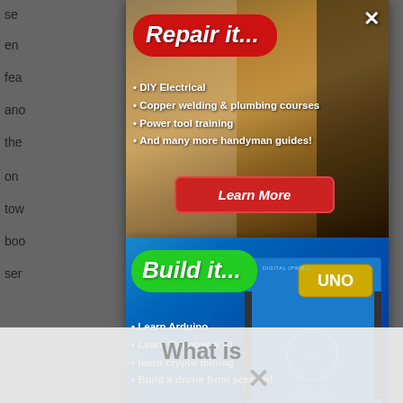se...
en...
fea...
an...
the...
on... ...n it
tow... ...an
boo...
ser...
Fun... ...olt
sig... ...ice
[Figure (screenshot): Advertisement popup overlay: 'Repair it...' with red bubble title. Lists: DIY Electrical, Copper welding & plumbing courses, Power tool training, And many more handyman guides! With red 'Learn More' button and close X button.]
[Figure (screenshot): Advertisement popup overlay: 'Build it...' with green bubble title over Arduino UNO board background. Lists: Learn Arduino, Learn Raspberry Pi, learn crypto mining, Build a drone from scratch! With green 'Learn More' button.]
No compatible source was found for this media.
What is